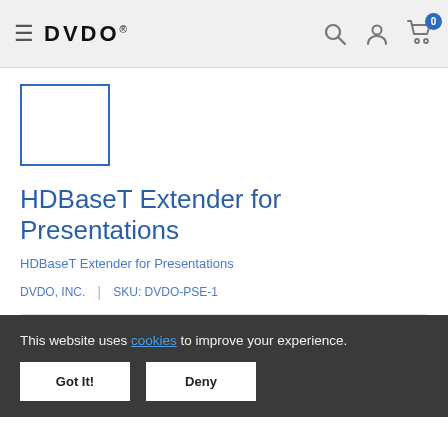DVDO® — navigation header with search, account, and cart icons
[Figure (other): Product image placeholder — empty box with blue border]
HDBaseT Extender for Presentations
HDBaseT Extender for Presentations
DVDO, INC.  |  SKU: DVDO-PSE-1
This website uses cookies to improve your experience.